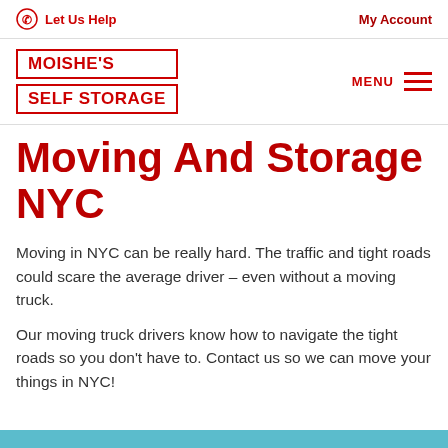Let Us Help   My Account
[Figure (logo): Moishe's Self Storage logo with red bordered text boxes and MENU hamburger icon]
Moving And Storage NYC
Moving in NYC can be really hard. The traffic and tight roads could scare the average driver – even without a moving truck.
Our moving truck drivers know how to navigate the tight roads so you don't have to. Contact us so we can move your things in NYC!